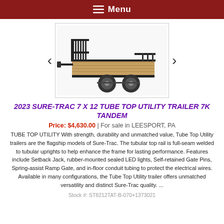Menu
[Figure (photo): Photo of a 2023 Sure-Trac 7x12 Tube Top Utility Trailer 7K Tandem, black metal frame with wooden deck and two axles, shown at an angle]
2023 SURE-TRAC 7 X 12 TUBE TOP UTILITY TRAILER 7K TANDEM
Price: $4,630.00 | For sale in LEESPORT, PA
TUBE TOP UTILITY With strength, durability and unmatched value, Tube Top Utility trailers are the flagship models of Sure-Trac. The tubular top rail is full-seam welded to tubular uprights to help enhance the frame for lasting performance. Features include Setback Jack, rubber-mounted sealed LED lights, Self-retained Gate Pins, Spring-assist Ramp Gate, and in-floor conduit tubing to protect the electrical wires. Available in many configurations, the Tube Top Utility trailer offers unmatched versatility and distinct Sure-Trac quality. ...
Stock #: ST8212TAT-B-070+1373021